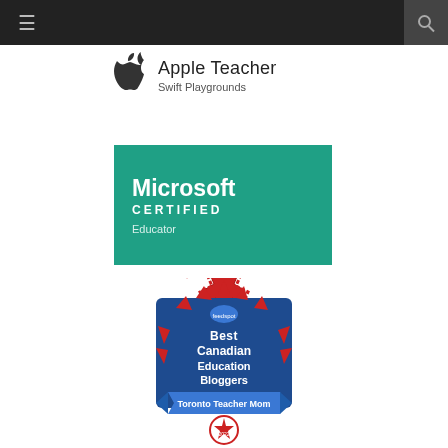Navigation bar with hamburger menu and search icon
[Figure (logo): Apple Teacher Swift Playgrounds badge — Apple logo with text 'Apple Teacher' and 'Swift Playgrounds']
[Figure (logo): Microsoft Certified Educator badge — teal background with white text reading 'Microsoft CERTIFIED Educator']
[Figure (logo): Best Canadian Education Bloggers badge — red maple leaf with blue shield design, text reads 'Best Canadian Education Bloggers Toronto Teacher Mom 2022']